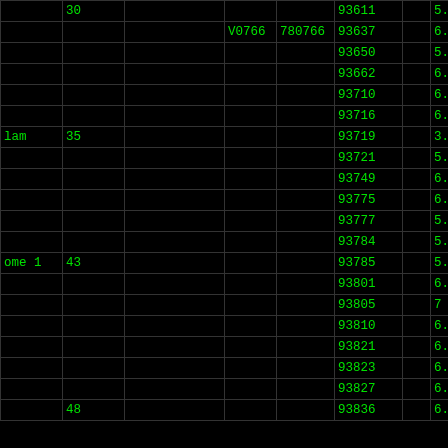| col0 | col1 | col2 | col3 | col4 | col5 | col6 | col7 |
| --- | --- | --- | --- | --- | --- | --- | --- |
|  | 30 |  |  |  | 93611 |  | 5.0 |
|  |  |  | V0766 | 780766 | 93637 |  | 6.3 |
|  |  |  |  |  | 93650 |  | 5.9 |
|  |  |  |  |  | 93662 |  | 6.9 |
|  |  |  |  |  | 93710 |  | 6.3 |
|  |  |  |  |  | 93716 |  | 6.3 |
| lam | 35 |  |  |  | 93719 |  | 3.4 |
|  |  |  |  |  | 93721 |  | 5.8 |
|  |  |  |  |  | 93749 |  | 6.8 |
|  |  |  |  |  | 93775 |  | 6.0 |
|  |  |  |  |  | 93777 |  | 5.8 |
|  |  |  |  |  | 93784 |  | 5.9 |
| ome 1 | 43 |  |  |  | 93785 |  | 5.5 |
|  |  |  |  |  | 93801 |  | 6.6 |
|  |  |  |  |  | 93805 |  | 7 |
|  |  |  |  |  | 93810 |  | 6.0 |
|  |  |  |  |  | 93821 |  | 6.2 |
|  |  |  |  |  | 93823 |  | 6.2 |
|  |  |  |  |  | 93827 |  | 6.9 |
|  | 48 |  |  |  | 93836 |  | 6.3 |